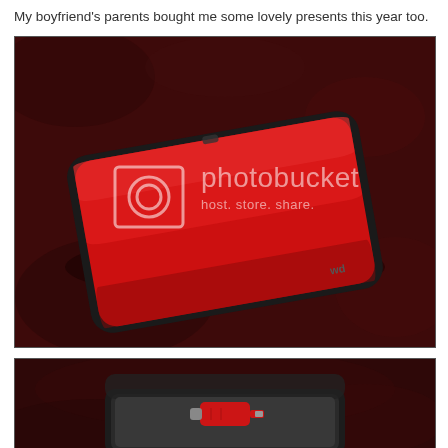My boyfriend's parents bought me some lovely presents this year too.
[Figure (photo): A red portable hard drive case (WD My Passport) photographed on a dark red carpet background, shot from above at an angle. A Photobucket watermark reading 'photobucket / host. store. share.' is overlaid.]
[Figure (photo): Partial view of an open black hard case on a dark red carpet background, with a small red car charger or USB device visible inside the case.]